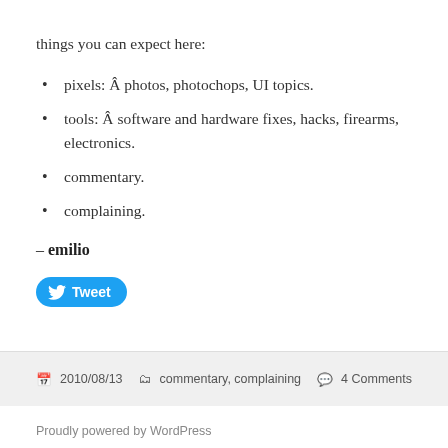things you can expect here:
pixels: Â photos, photochops, UI topics.
tools: Â software and hardware fixes, hacks, firearms, electronics.
commentary.
complaining.
– emilio
[Figure (other): Tweet button with Twitter bird logo]
2010/08/13  commentary, complaining  4 Comments
Proudly powered by WordPress